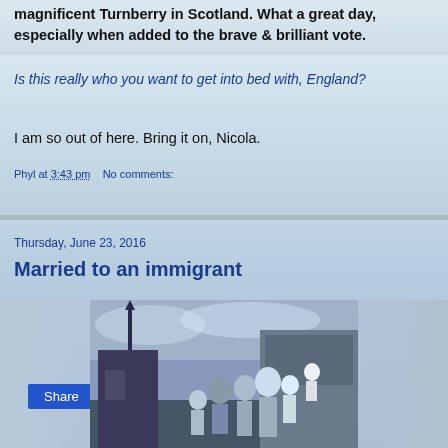magnificent Turnberry in Scotland. What a great day, especially when added to the brave & brilliant vote.
Is this really who you want to get into bed with, England?
I am so out of here. Bring it on, Nicola.
Phyl at 3:43 pm    No comments:
Share
Thursday, June 23, 2016
Married to an immigrant
[Figure (photo): A family photo taken in front of a cathedral/church building, with a church spire visible in the background. A group of adults and children are posing together outdoors.]